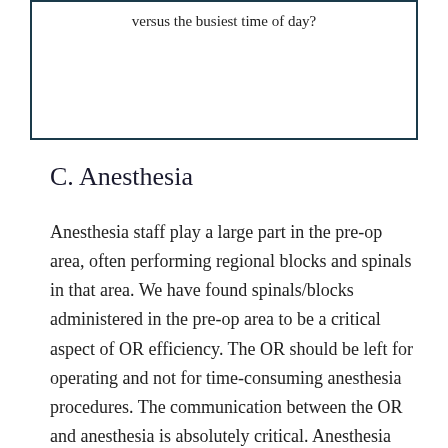versus the busiest time of day?
C. Anesthesia
Anesthesia staff play a large part in the pre-op area, often performing regional blocks and spinals in that area. We have found spinals/blocks administered in the pre-op area to be a critical aspect of OR efficiency. The OR should be left for operating and not for time-consuming anesthesia procedures. The communication between the OR and anesthesia is absolutely critical. Anesthesia always needs to be alerted as to the appropriate time to start the block and/or